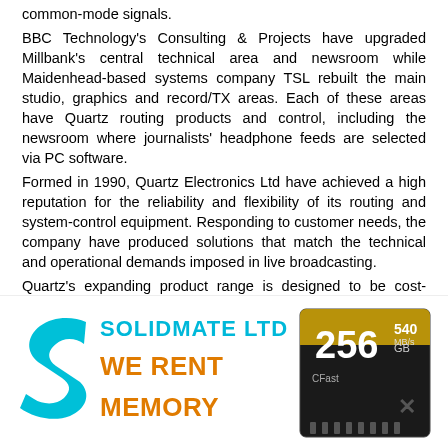common-mode signals. BBC Technology's Consulting & Projects have upgraded Millbank's central technical area and newsroom while Maidenhead-based systems company TSL rebuilt the main studio, graphics and record/TX areas. Each of these areas have Quartz routing products and control, including the newsroom where journalists' headphone feeds are selected via PC software. Formed in 1990, Quartz Electronics Ltd have achieved a high reputation for the reliability and flexibility of its routing and system-control equipment. Responding to customer needs, the company have produced solutions that match the technical and operational demands imposed in live broadcasting. Quartz's expanding product range is designed to be cost-effective, versatile and space-efficient and is backed by high-grade technical support. Quartz Electronics, www.quartzuk.com (GMcG)
[Figure (advertisement): Solidmate Ltd advertisement showing cyan S logo, 'WE RENT MEMORY' in orange text, and a 256GB CF card image]